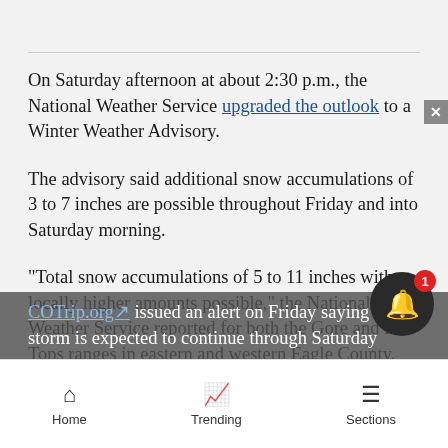On Saturday afternoon at about 2:30 p.m., the National Weather Service upgraded the outlook to a Winter Weather Advisory.
The advisory said additional snow accumulations of 3 to 7 inches are possible throughout Friday and into Saturday morning.
“Total snow accumulations of 5 to 11 inches with locally higher amounts possible,” the National Weather Service reported for both the Gore and Flat Tops ranges in eastern and western Eagle County.
COTrip.org issued an alert on Friday saying the storm is expected to continue through Saturday
Home  Trending  Sections